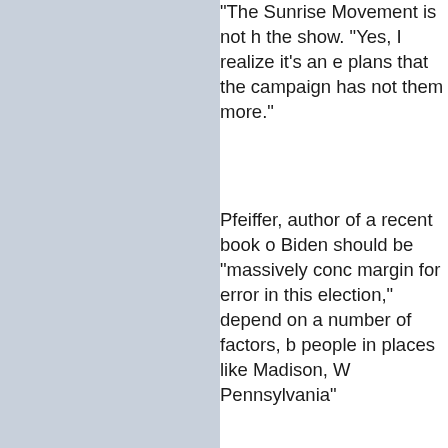"The Sunrise Movement is not h the show. "Yes, I realize it's an e plans that the campaign has not them more."
Pfeiffer, author of a recent book Biden should be "massively conc margin for error in this election," depend on a number of factors, b people in places like Madison, W Pennsylvania"
Recent research by the progress climate is the path to winning ke Election Study, the researchers f persuadable voters who cast the percent of Trump voters said they they are overwhelmingly young a the same researchers, who foun 2016 primary ultimately voted fo Wisconsin and Pennsylvania